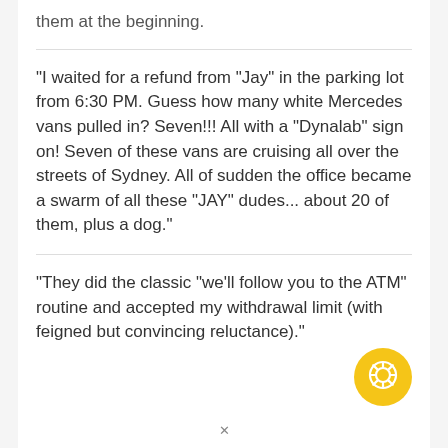them at the beginning.
"I waited for a refund from "Jay" in the parking lot from 6:30 PM. Guess how many white Mercedes vans pulled in? Seven!!! All with a "Dynalab" sign on! Seven of these vans are cruising all over the streets of Sydney. All of sudden the office became a swarm of all these "JAY" dudes... about 20 of them, plus a dog."
"They did the classic "we'll follow you to the ATM" routine and accepted my withdrawal limit (with feigned but convincing reluctance)."
[Figure (illustration): Yellow circular chat/support icon with white speech bubble design in bottom right corner]